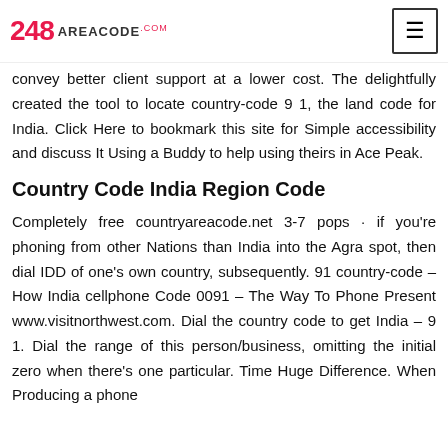248 AREACODE.com
convey better client support at a lower cost. The delightfully created the tool to locate country-code 9 1, the land code for India. Click Here to bookmark this site for Simple accessibility and discuss It Using a Buddy to help using theirs in Ace Peak.
Country Code India Region Code
Completely free countryareacode.net 3-7 pops · if you're phoning from other Nations than India into the Agra spot, then dial IDD of one's own country, subsequently. 91 country-code – How India cellphone Code 0091 – The Way To Phone Present www.visitnorthwest.com. Dial the country code to get India – 9 1. Dial the range of this person/business, omitting the initial zero when there's one particular. Time Huge Difference. When Producing a phone